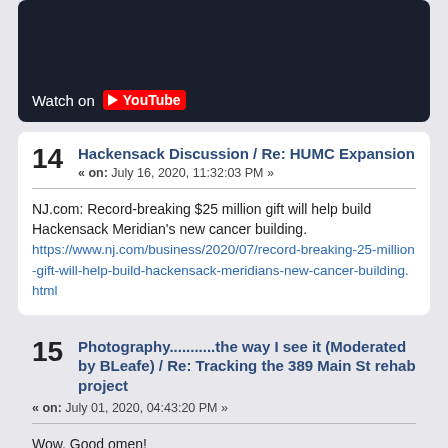[Figure (screenshot): YouTube video thumbnail with dark ocean/water background, showing 'Watch on YouTube' button overlay]
14 Hackensack Discussion / Re: HUMC Expansion « on: July 16, 2020, 11:32:03 PM »
NJ.com: Record-breaking $25 million gift will help build Hackensack Meridian's new cancer building.
https://www.nj.com/business/2020/07/record-breaking-25-million-gift-will-help-build-hackensack-meridians-new-cancer-building.html
15 Photography...........the way I see it (Moderated by BLeafe) / Re: Tracking the 389 Main St rehab project « on: July 01, 2020, 04:43:20 PM »
Wow. Good omen!
Pages: [1] 2 3 ... 293